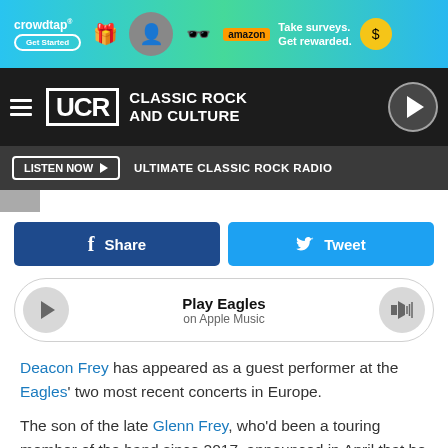[Figure (screenshot): Crowdtap and Amazon advertisement banner: 'Take surveys. Get rewarded.' with Get Started button]
[Figure (logo): UCR Classic Rock and Culture navigation bar with hamburger menu and play button]
[Figure (screenshot): Listen Now button bar with text ULTIMATE CLASSIC ROCK RADIO]
[Figure (screenshot): Facebook Share and Twitter Tweet buttons]
[Figure (screenshot): Apple Music player widget: Play Eagles on Apple Music]
Deacon Frey has appeared as a guest performer at the Eagles' two most recent concerts in Europe.
The son of the late Glenn Frey, who'd been a touring member of the band since 2017, announced in April that he would be stepping away from the road.